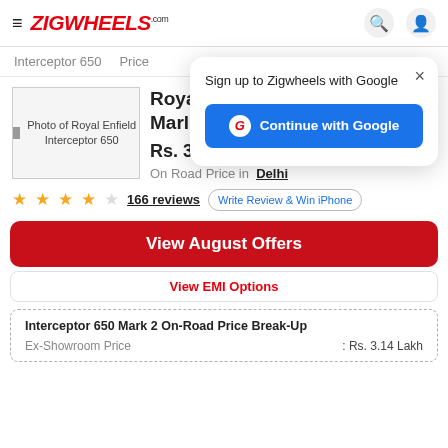ZIGWHEELS.com
Interceptor 650  Price
[Figure (photo): Photo of Royal Enfield Interceptor 650 motorcycle]
Royal Enfield Interceptor 650 Mark 2
Rs. 3.62 Lakh  ✏ Variant
On Road Price in  Delhi
★★★★☆  166 reviews   Write Review & Win iPhone
View August Offers
View EMI Options
Interceptor 650 Mark 2 On-Road Price Break-Up
Ex-Showroom Price  : Rs. 3.14 Lakh
Sign up to Zigwheels with Google
Continue with Google